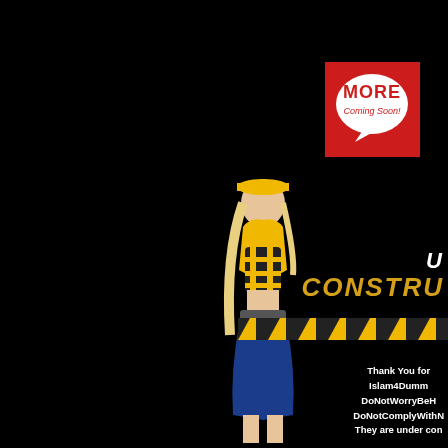[Figure (illustration): Woman in construction-themed costume (yellow hard hat, yellow top, black tool vest, blue skirt) standing against a black background]
[Figure (logo): Red square badge with white speech bubble containing 'MORE Coming Soon!' text in red]
U CONSTRU
[Figure (illustration): Yellow and black diagonal hazard stripe bar]
Thank You for Islam4Dumm DoNotWorryBeH DoNotComplyWithN They are under con